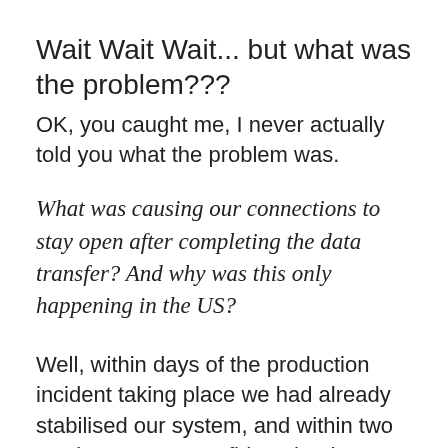Wait Wait Wait... but what was the problem???
OK, you caught me, I never actually told you what the problem was.
What was causing our connections to stay open after completing the data transfer? And why was this only happening in the US?
Well, within days of the production incident taking place we had already stabilised our system, and within two weeks we were confident that it wasn't an issue in our setup.